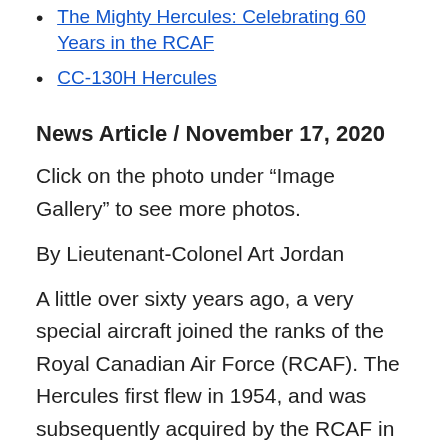The Mighty Hercules: Celebrating 60 Years in the RCAF
CC-130H Hercules
News Article / November 17, 2020
Click on the photo under “Image Gallery” to see more photos.
By Lieutenant-Colonel Art Jordan
A little over sixty years ago, a very special aircraft joined the ranks of the Royal Canadian Air Force (RCAF). The Hercules first flew in 1954, and was subsequently acquired by the RCAF in 1960. The aircraft has served Canada and Canadians quite well throughout